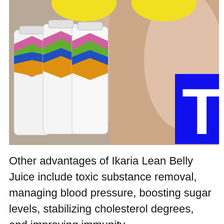[Figure (photo): Photo showing multiple white supplement bottles (Ikaria Lean Belly Juice) with colorful hexagonal labels arranged in a row, a person's neck/shoulder visible in the background, yellow decorative elements at the top, and a blue rectangle with a white letter T partially visible at the lower right.]
Other advantages of Ikaria Lean Belly Juice include toxic substance removal, managing blood pressure, boosting sugar levels, stabilizing cholesterol degrees, and improving immunity.